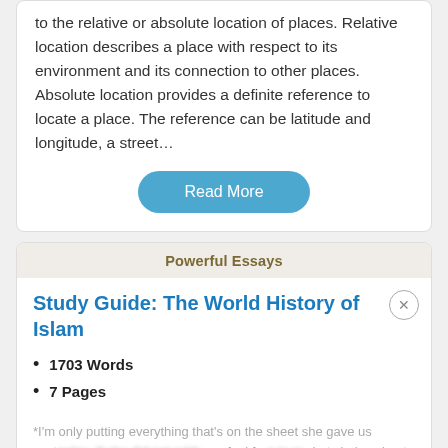to the relative or absolute location of places. Relative location describes a place with respect to its environment and its connection to other places. Absolute location provides a definite reference to locate a place. The reference can be latitude and longitude, a street…
Read More
Powerful Essays
Study Guide: The World History of Islam
1703 Words
7 Pages
*I'm only putting everything that's on the sheet she gave us yest… ss, feel fre… what she's going to add, she told me I have to find out through
[Figure (screenshot): Disney Bundle advertisement banner showing Hulu, Disney+, ESPN+ logos with 'GET THE DISNEY BUNDLE' call to action button and fine print text]